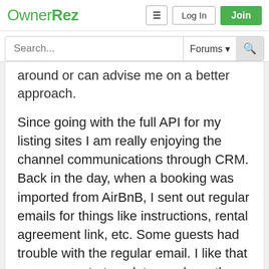OwnerRez — Log In | Join | Search... Forums
around or can advise me on a better approach.
Since going with the full API for my listing sites I am really enjoying the channel communications through CRM. Back in the day, when a booking was imported from AirBnB, I sent out regular emails for things like instructions, rental agreement link, etc. Some guests had trouble with the regular email. I like that we can create templates and use them in the AirBnB CRM now and that this goes through AirBnB messaging. However AirBnB removes all URLs from the message. Case in point, my standard "Please sign Rental Agreement" gets the OR link to the rental agreement blocked.
As anyone determined an approach to use CRM